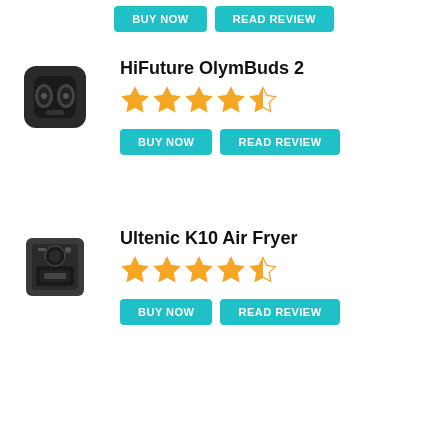[Figure (other): BUY NOW and READ REVIEW buttons at top]
[Figure (photo): HiFuture OlymBuds 2 earbuds product image]
HiFuture OlymBuds 2
[Figure (other): 4.5 star rating for HiFuture OlymBuds 2]
[Figure (other): BUY NOW and READ REVIEW buttons for HiFuture OlymBuds 2]
[Figure (photo): Ultenic K10 Air Fryer product image]
Ultenic K10 Air Fryer
[Figure (other): 4.5 star rating for Ultenic K10 Air Fryer]
[Figure (other): BUY NOW and READ REVIEW buttons for Ultenic K10 Air Fryer]
Contact / TV Box / Mini PC / Firmware / Reviews / Forum / Deals / Brands / Others